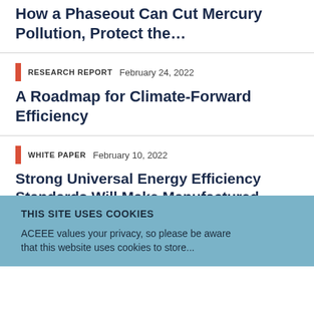How a Phaseout Can Cut Mercury Pollution, Protect the…
RESEARCH REPORT   February 24, 2022
A Roadmap for Climate-Forward Efficiency
WHITE PAPER   February 10, 2022
Strong Universal Energy Efficiency Standards Will Make Manufactured Homes More Affordable
THIS SITE USES COOKIES
ACEEE values your privacy, so please be aware that this website uses cookies to store...